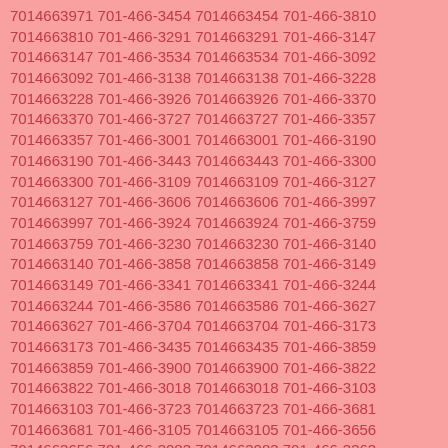7014663971 701-466-3454 7014663454 701-466-3810 7014663810 701-466-3291 7014663291 701-466-3147 7014663147 701-466-3534 7014663534 701-466-3092 7014663092 701-466-3138 7014663138 701-466-3228 7014663228 701-466-3926 7014663926 701-466-3370 7014663370 701-466-3727 7014663727 701-466-3357 7014663357 701-466-3001 7014663001 701-466-3190 7014663190 701-466-3443 7014663443 701-466-3300 7014663300 701-466-3109 7014663109 701-466-3127 7014663127 701-466-3606 7014663606 701-466-3997 7014663997 701-466-3924 7014663924 701-466-3759 7014663759 701-466-3230 7014663230 701-466-3140 7014663140 701-466-3858 7014663858 701-466-3149 7014663149 701-466-3341 7014663341 701-466-3244 7014663244 701-466-3586 7014663586 701-466-3627 7014663627 701-466-3704 7014663704 701-466-3173 7014663173 701-466-3435 7014663435 701-466-3859 7014663859 701-466-3900 7014663900 701-466-3822 7014663822 701-466-3018 7014663018 701-466-3103 7014663103 701-466-3723 7014663723 701-466-3681 7014663681 701-466-3105 7014663105 701-466-3656 7014663656 701-466-3083 7014663083 701-466-3363 7014663363 701-466-3196 7014663196 701-466-3950 7014663950 701-466-3453 7014663453 701-466-3825 7014663825 701-466-3044 7014663044 701-466-3014 7014663014 701-466-3038 7014663038 701-466-3143 7014663143 701-466-3247 7014663247 701-466-3042 7014663042 701-466-3452 7014663452 701-466-3596 7014663596 701-466-3652 7014663652 701-466-3583 7014663583 701-466-3021 7014663021 701-466-3662 7014663662 701-466-3565 7014663565 701-466-3979 7014663979 701-466-3996